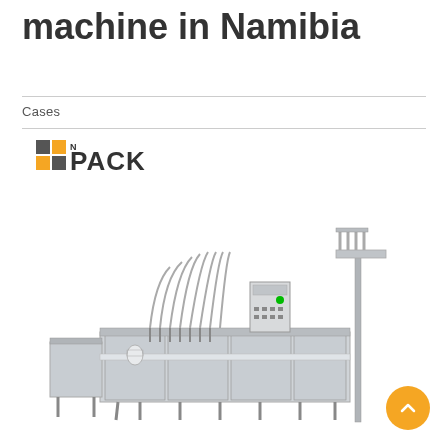machine in Namibia
Cases
[Figure (logo): N-PACK logo with two colored squares (dark grey and orange) and the text PACK with a superscript N]
[Figure (photo): Industrial liquid filling machine with stainless steel body, multiple filling nozzles with curved tubing, control panel, conveyor system, and capping unit on the right side]